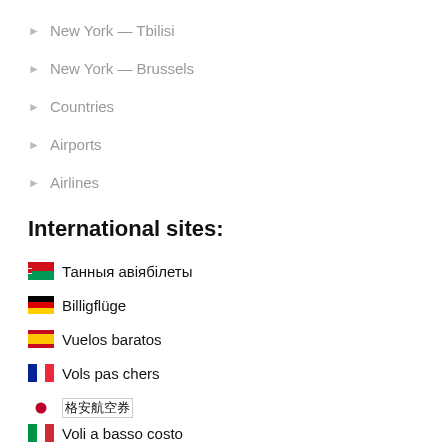New York — Tbilisi
New York — Brussels
Countries
Airports
Airlines
International sites:
🇧🇾 Танныя авіябілеты
🇩🇪 Billigflüge
🇪🇸 Vuelos baratos
🇫🇷 Vols pas chers
🇯🇵 格安航空券
🇮🇹 Voli a basso costo